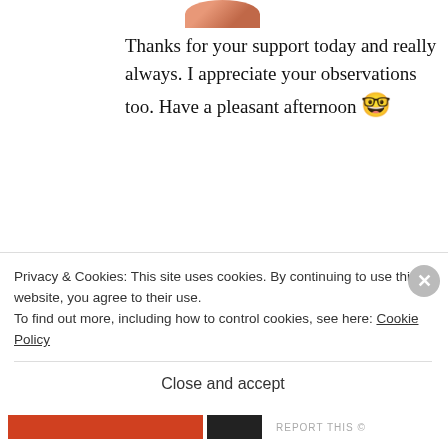[Figure (photo): Circular avatar photo of a person, partially visible at top of page]
Thanks for your support today and really always. I appreciate your observations too. Have a pleasant afternoon 🤓
★ Like
REPLY
[Figure (photo): Circular avatar photo of patfurstenberg - woman with dark hair in front of pink flowers]
patfurstenberg
APRIL 22, 2017 AT 10:46
Privacy & Cookies: This site uses cookies. By continuing to use this website, you agree to their use.
To find out more, including how to control cookies, see here: Cookie Policy
Close and accept